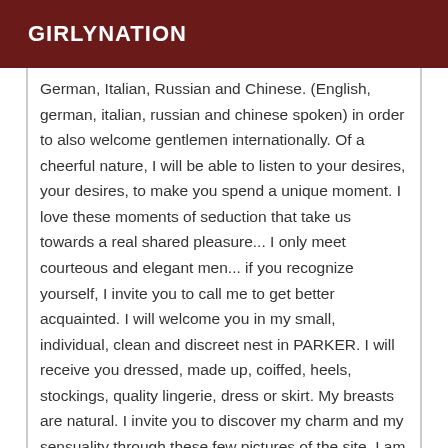GIRLYNATION
German, Italian, Russian and Chinese. (English, german, italian, russian and chinese spoken) in order to also welcome gentlemen internationally. Of a cheerful nature, I will be able to listen to your desires, your desires, to make you spend a unique moment. I love these moments of seduction that take us towards a real shared pleasure... I only meet courteous and elegant men... if you recognize yourself, I invite you to call me to get better acquainted. I will welcome you in my small, individual, clean and discreet nest in PARKER. I will receive you dressed, made up, coiffed, heels, stockings, quality lingerie, dress or skirt. My breasts are natural. I invite you to discover my charm and my sensuality through these few pictures of the site. I am sparkling, experienced and full of spirit, I invite you to an exquisite and delicate meeting, a special appointment for an infinitely voluptuous encounter, an exquisite moment in time. Partner of a moment of pleasure, I offer a top-of-